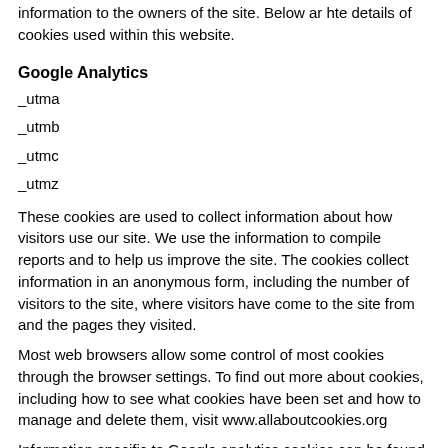information to the owners of the site. Below ar hte details of cookies used within this website.
Google Analytics
_utma
_utmb
_utmc
_utmz
These cookies are used to collect information about how visitors use our site. We use the information to compile reports and to help us improve the site. The cookies collect information in an anonymous form, including the number of visitors to the site, where visitors have come to the site from and the pages they visited.
Most web browsers allow some control of most cookies through the browser settings. To find out more about cookies, including how to see what cookies have been set and how to manage and delete them, visit www.allaboutcookies.org
Information specific to Google analytics cookies can be found in the